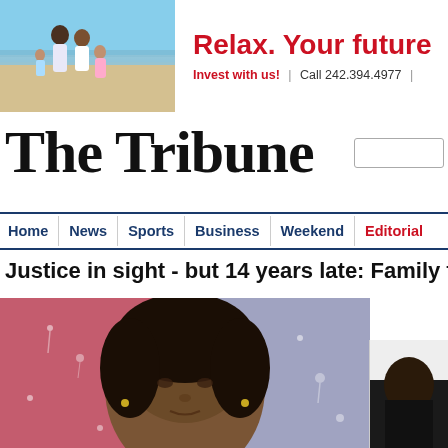[Figure (photo): Banner advertisement showing a family on a beach with 'Relax. Your future' headline and investment call to action. Call 242.394.4977.]
The Tribune
[Figure (screenshot): Search box input field]
Home | News | Sports | Business | Weekend | Editorial
Justice in sight - but 14 years late: Family finall
[Figure (photo): Close-up photo of a person's face looking through rain-streaked glass, with blurred colorful background]